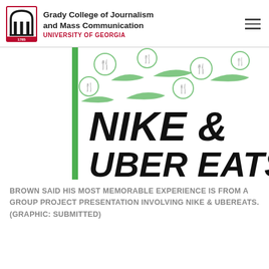Grady College of Journalism and Mass Communication — University of Georgia
[Figure (illustration): Graphic showing Nike & Uber Eats branding: green vertical bar on left, Nike swoosh icons and Uber Eats fork-in-circle icons scattered on white background, large bold text 'NIKE & UBER EATS' in black]
BROWN SAID HIS MOST MEMORABLE EXPERIENCE IS FROM A GROUP PROJECT PRESENTATION INVOLVING NIKE & UBEREATS. (GRAPHIC: SUBMITTED)